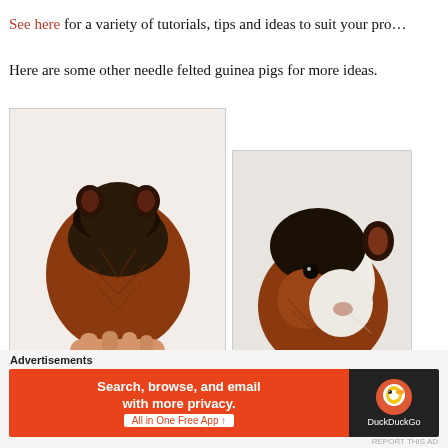See here for a variety of tutorials, tips and ideas to suit your pro…
Here are some other needle felted guinea pigs for more ideas.
[Figure (photo): Needle felted guinea pig seen from the back, brown and black fur, held by a hand, against a white background.]
[Figure (photo): Needle felted guinea pig seen from the front/side, brown black and white fur, against a light grey background.]
Advertisements
[Figure (other): DuckDuckGo advertisement banner: orange left side with text 'Search, browse, and email with more privacy. All in One Free App', right dark side with DuckDuckGo logo and text 'DuckDuckGo'.]